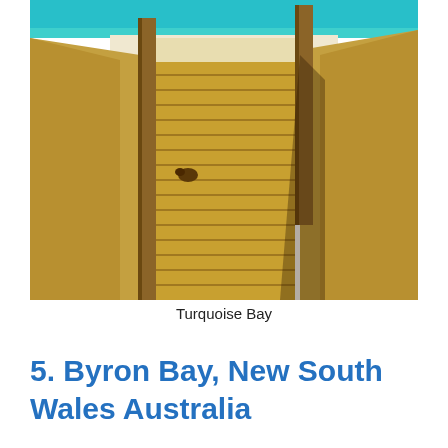[Figure (photo): A beach access path with wooden boardwalk steps leading down through sandy dunes with wooden posts on either side, opening to a view of white sand beach and vivid turquoise water at Turquoise Bay.]
Turquoise Bay
5. Byron Bay, New South Wales Australia